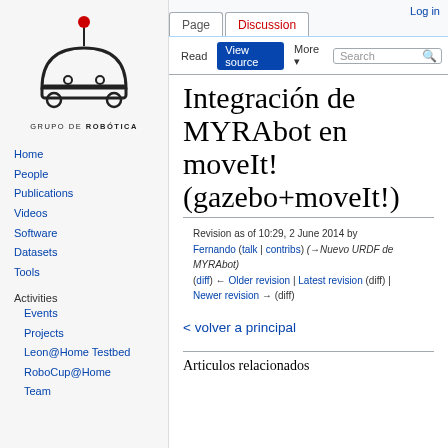[Figure (logo): Grupo de Robótica logo — robot silhouette with antenna and red ball on top, black line art on light background, with text GRUPO DE ROBÓTICA below]
Log in
Page  Discussion
Read  View source  More ▾  Search
Integración de MYRAbot en moveIt! (gazebo+moveIt!)
Revision as of 10:29, 2 June 2014 by Fernando (talk | contribs) (→Nuevo URDF de MYRAbot)
(diff) ← Older revision | Latest revision (diff) | Newer revision → (diff)
Home
People
Publications
Videos
Software
Datasets
Tools
Activities
Events
Projects
Leon@Home Testbed
RoboCup@Home Team
< volver a principal
Articulos relacionados